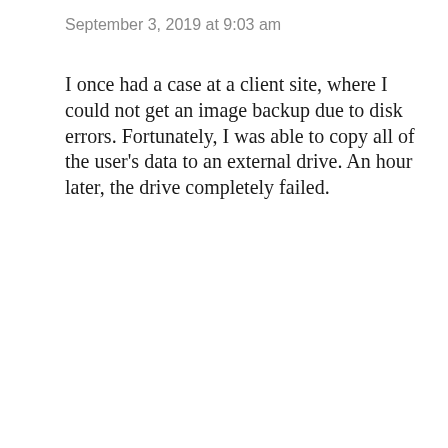September 3, 2019 at 9:03 am
I once had a case at a client site, where I could not get an image backup due to disk errors. Fortunately, I was able to copy all of the user's data to an external drive. An hour later, the drive completely failed.
Reply
[Figure (screenshot): ICICI Bank Money2India advertisement banner. Orange gradient background with green section on right. Text: 'Celebrate 75 years of Independence with a 75-poise better rate.' with 'Use PROMO CODE INDIA75' button. Small disclaimer text at bottom.]